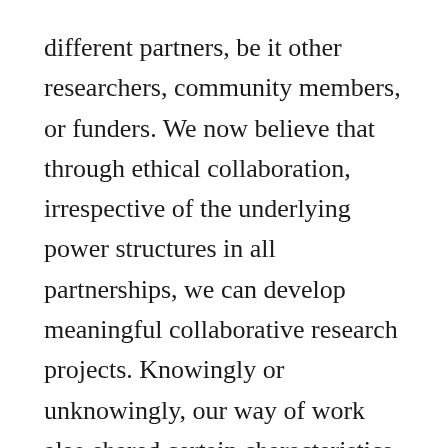different partners, be it other researchers, community members, or funders. We now believe that through ethical collaboration, irrespective of the underlying power structures in all partnerships, we can develop meaningful collaborative research projects. Knowingly or unknowingly, our way of work also shared certain characteristics with a strengths-based approach. As described earlier, each one of us was able to freely participate based on our respective strengths and this helped in both knowing ourselves and blending with the team. Through adaptive innovation, we were able to sail through turbulences and uncertainties, and consistently innovate as new contexts emerge.